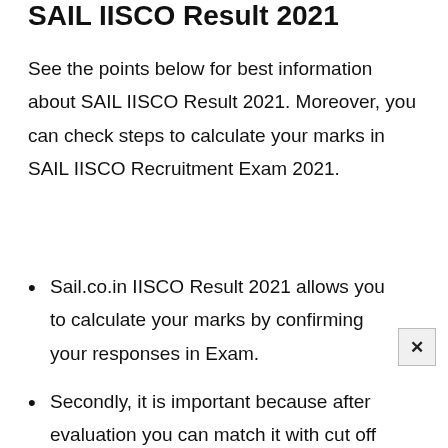SAIL IISCO Result 2021
See the points below for best information about SAIL IISCO Result 2021. Moreover, you can check steps to calculate your marks in SAIL IISCO Recruitment Exam 2021.
Sail.co.in IISCO Result 2021 allows you to calculate your marks by confirming your responses in Exam.
Secondly, it is important because after evaluation you can match it with cut off